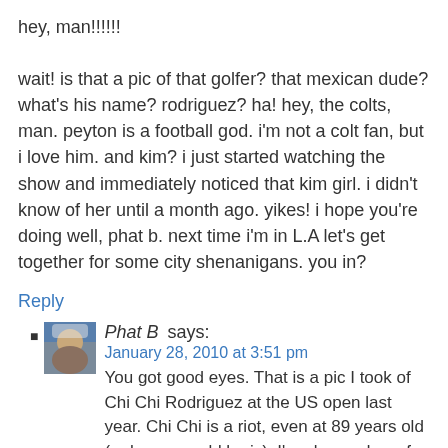hey, man!!!!!!

wait! is that a pic of that golfer? that mexican dude? what's his name? rodriguez? ha! hey, the colts, man. peyton is a football god. i'm not a colt fan, but i love him. and kim? i just started watching the show and immediately noticed that kim girl. i didn't know of her until a month ago. yikes! i hope you're doing well, phat b. next time i'm in L.A let's get together for some city shenanigans. you in?
Reply
Phat B says:
January 28, 2010 at 3:51 pm
You got good eyes. That is a pic I took of Chi Chi Rodriguez at the US open last year. Chi Chi is a riot, even at 89 years old (or however old he is). I'm always down for L.A. based shenanigans. We could get tanked and try to pick up a Kardashian.